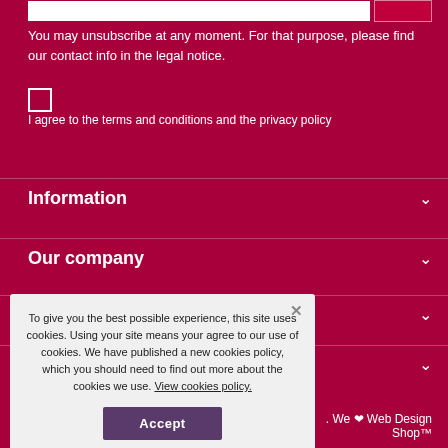You may unsubscribe at any moment. For that purpose, please find our contact info in the legal notice.
I agree to the terms and conditions and the privacy policy
Information
Our company
To give you the best possible experience, this site uses cookies. Using your site means your agree to our use of cookies. We have published a new cookies policy, which you should need to find out more about the cookies we use. View cookies policy.
Accept
. We ♥ Web Design Shop™